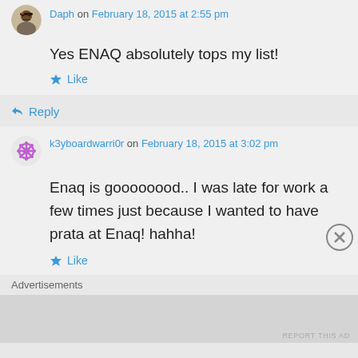Daph on February 18, 2015 at 2:55 pm
Yes ENAQ absolutely tops my list!
Like
Reply
k3yboardwarri0r on February 18, 2015 at 3:02 pm
Enaq is goooooood.. I was late for work a few times just because I wanted to have prata at Enaq! hahha!
Like
Advertisements